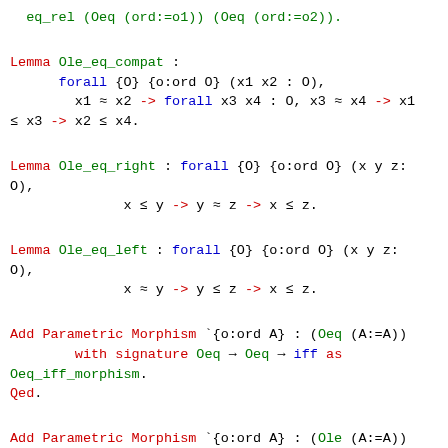eq_rel (Oeq (ord:=o1)) (Oeq (ord:=o2)).
Lemma Ole_eq_compat :
      forall {O} {o:ord O} (x1 x2 : O),
        x1 ≈ x2 -> forall x3 x4 : O, x3 ≈ x4 -> x1
≤ x3 -> x2 ≤ x4.
Lemma Ole_eq_right : forall {O} {o:ord O} (x y z:
O),
              x ≤ y -> y ≈ z -> x ≤ z.
Lemma Ole_eq_left : forall {O} {o:ord O} (x y z:
O),
              x ≈ y -> y ≤ z -> x ≤ z.
Add Parametric Morphism `{o:ord A} : (Oeq (A:=A))
        with signature Oeq → Oeq → iff as
Oeq_iff_morphism.
Qed.
Add Parametric Morphism `{o:ord A} : (Ole (A:=A))
        with signature Oeq → Oeq → iff as
Ole_iff_morphism.
Qed.
Add Parametric Morphism `{o:ord A} : (Ole (A:=A))
        with signature Ole --> Ole → Basics.impl